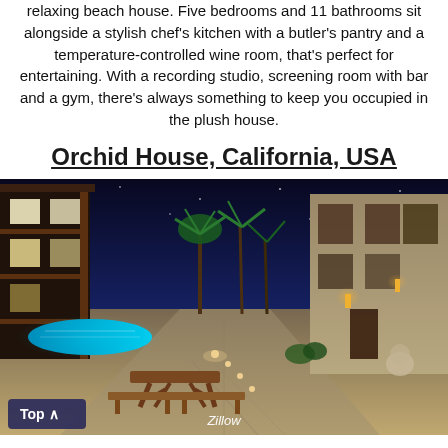relaxing beach house. Five bedrooms and 11 bathrooms sit alongside a stylish chef's kitchen with a butler's pantry and a temperature-controlled wine room, that's perfect for entertaining. With a recording studio, screening room with bar and a gym, there's always something to keep you occupied in the plush house.
Orchid House, California, USA
[Figure (photo): Night-time exterior photo of a luxury property with illuminated pathway, pool on the left, wooden buildings with warm lighting on both sides, palm trees in the background, and a wooden picnic table with benches in the foreground. Caption reads 'Zillow'. A 'Top ^' button overlay appears in the bottom-left.]